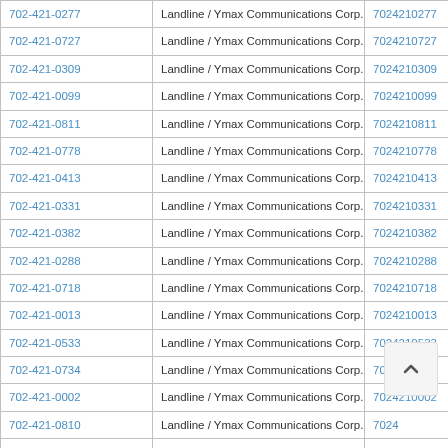| Phone | Type / Carrier | Number |
| --- | --- | --- |
| 702-421-0277 | Landline / Ymax Communications Corp. | 7024210277 |
| 702-421-0727 | Landline / Ymax Communications Corp. | 7024210727 |
| 702-421-0309 | Landline / Ymax Communications Corp. | 7024210309 |
| 702-421-0099 | Landline / Ymax Communications Corp. | 7024210099 |
| 702-421-0811 | Landline / Ymax Communications Corp. | 7024210811 |
| 702-421-0778 | Landline / Ymax Communications Corp. | 7024210778 |
| 702-421-0413 | Landline / Ymax Communications Corp. | 7024210413 |
| 702-421-0331 | Landline / Ymax Communications Corp. | 7024210331 |
| 702-421-0382 | Landline / Ymax Communications Corp. | 7024210382 |
| 702-421-0288 | Landline / Ymax Communications Corp. | 7024210288 |
| 702-421-0718 | Landline / Ymax Communications Corp. | 7024210718 |
| 702-421-0013 | Landline / Ymax Communications Corp. | 7024210013 |
| 702-421-0533 | Landline / Ymax Communications Corp. | 7024210533 |
| 702-421-0734 | Landline / Ymax Communications Corp. | 7024210734 |
| 702-421-0002 | Landline / Ymax Communications Corp. | 7024210002 |
| 702-421-0810 | Landline / Ymax Communications Corp. | 7024210810 |
| 702-421-0130 | Landline / Ymax Communications Corp. | 7024210130 |
| 702-421-0383 | Landline / Ymax Communications Corp. | 7024210383 |
| 702-421-0321 | Landline / Ymax Communications Corp. | 7024210321 |